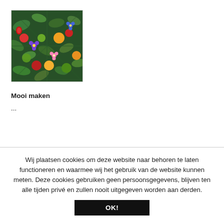[Figure (photo): A colorful overhead photo of mixed vegetables, fruits, and flowers including tomatoes, oranges, green vegetables, and purple/pink flowers arranged on a dark background.]
Mooi maken
...
Wij plaatsen cookies om deze website naar behoren te laten functioneren en waarmee wij het gebruik van de website kunnen meten. Deze cookies gebruiken geen persoonsgegevens, blijven ten alle tijden privé en zullen nooit uitgegeven worden aan derden.
OK!